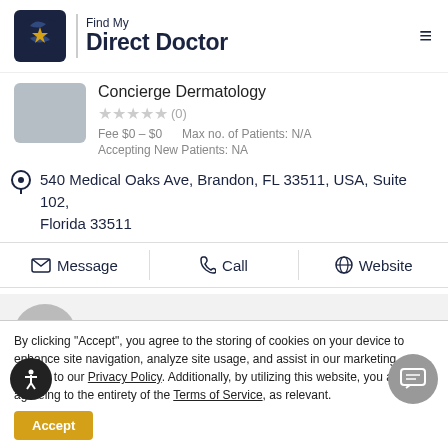Find My Direct Doctor
Concierge Dermatology
★★★★★ (0)
Fee $0 – $0   Max no. of Patients: N/A   Accepting New Patients: NA
540 Medical Oaks Ave, Brandon, FL 33511, USA, Suite 102, Florida 33511
Message   Call   Website
Bobbie Farrell
By clicking "Accept", you agree to the storing of cookies on your device to enhance site navigation, analyze site usage, and assist in our marketing efforts, to our Privacy Policy. Additionally, by utilizing this website, you are agreeing to the entirety of the Terms of Service, as relevant.